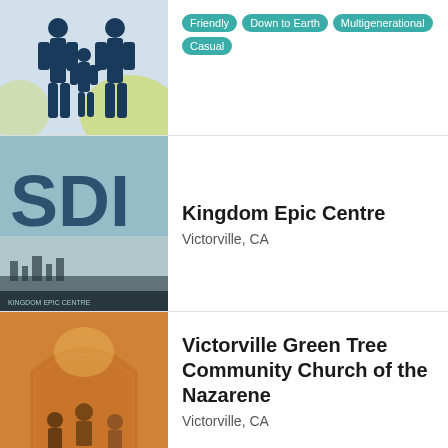[Figure (photo): Silhouette of a family (two adults and a child) holding hands against a yellow and blue background]
Tags: Friendly, Down to Earth, Multigenerational, Casual
[Figure (photo): Close-up of large dark teal letters on a textured background with a cityscape below, appearing to be a church logo]
Kingdom Epic Centre
Victorville, CA
[Figure (photo): Interior of a church with warm orange/amber lighting, arched ceiling, and people visible near the front]
Victorville Green Tree Community Church of the Nazarene
Victorville, CA